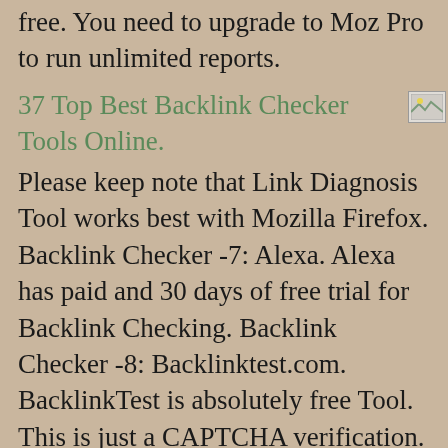free. You need to upgrade to Moz Pro to run unlimited reports.
37 Top Best Backlink Checker Tools Online.
[Figure (photo): Small broken/placeholder image icon]
Please keep note that Link Diagnosis Tool works best with Mozilla Firefox. Backlink Checker -7: Alexa. Alexa has paid and 30 days of free trial for Backlink Checking. Backlink Checker -8: Backlinktest.com. BacklinkTest is absolutely free Tool. This is just a CAPTCHA verification. Backlink Checker -9:nightwatch.io: cognitiveSEO - Backlink Checker And Site Explorer. This tool has a free version for 14 days trial and paid version as well. The free version provides up to 25 Backlinks for each report. The paid version also may vary based on their plan. Backlink Checker -10: Nightwatch.io. Nightwatchs backlink tracker of the next